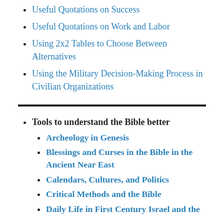Useful Quotations on Success
Useful Quotations on Work and Labor
Using 2x2 Tables to Choose Between Alternatives
Using the Military Decision-Making Process in Civilian Organizations
Tools to understand the Bible better
Archeology in Genesis
Blessings and Curses in the Bible in the Ancient Near East
Calendars, Cultures, and Politics
Critical Methods and the Bible
Daily Life in First Century Israel and the